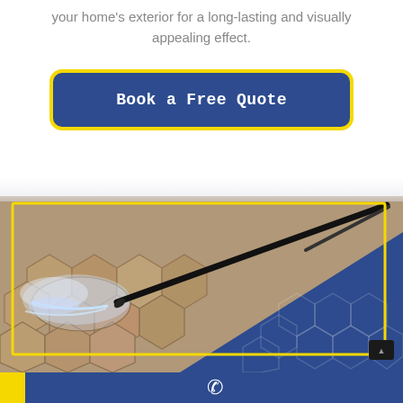your home's exterior for a long-lasting and visually appealing effect.
[Figure (other): Blue rounded rectangle button with yellow border reading 'Book a Free Quote' in white bold monospace font]
[Figure (photo): Pressure washing hexagonal paving tiles, showing a black pressure washer lance spraying water, before/after effect with blue diagonal overlay featuring hexagonal texture pattern]
[Figure (other): Dark blue footer bar with yellow left tab and white phone handset icon]